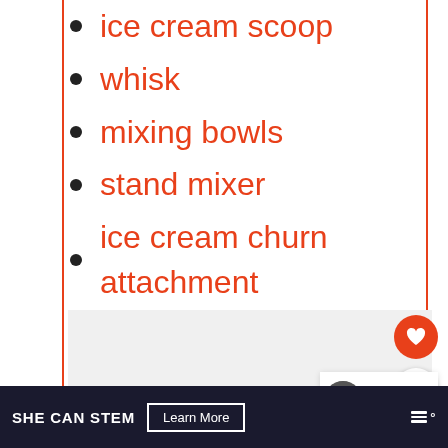ice cream scoop
whisk
mixing bowls
stand mixer
ice cream churn attachment
[Figure (photo): Image placeholder with grey background and three navigation dots at the bottom]
[Figure (other): Heart (favorite) button - orange circle with white heart icon]
[Figure (other): Share button - white circle with share icon]
[Figure (other): What's Next panel showing White Walker Ice Cream article thumbnail with label 'WHAT'S NEXT' and arrow]
SHE CAN STEM   Learn More